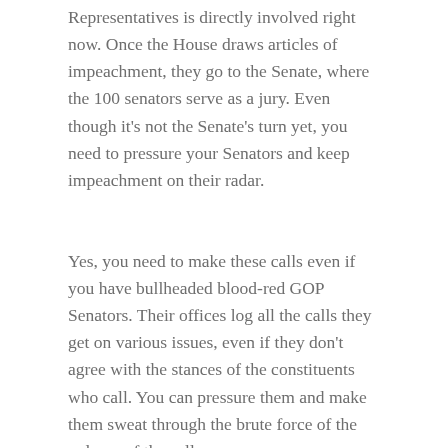Representatives is directly involved right now. Once the House draws articles of impeachment, they go to the Senate, where the 100 senators serve as a jury. Even though it's not the Senate's turn yet, you need to pressure your Senators and keep impeachment on their radar.
Yes, you need to make these calls even if you have bullheaded blood-red GOP Senators. Their offices log all the calls they get on various issues, even if they don't agree with the stances of the constituents who call. You can pressure them and make them sweat through the brute force of the volume of the calls.